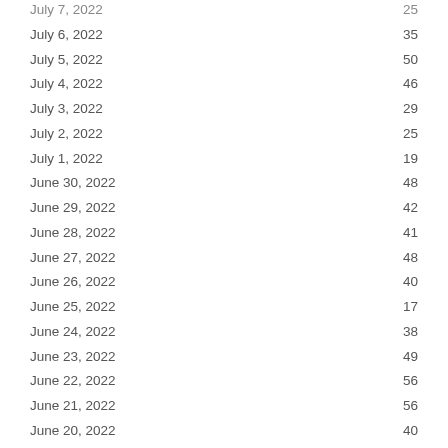| Date | Value |
| --- | --- |
| July 7, 2022 | 25 |
| July 6, 2022 | 35 |
| July 5, 2022 | 50 |
| July 4, 2022 | 46 |
| July 3, 2022 | 29 |
| July 2, 2022 | 25 |
| July 1, 2022 | 19 |
| June 30, 2022 | 48 |
| June 29, 2022 | 42 |
| June 28, 2022 | 41 |
| June 27, 2022 | 48 |
| June 26, 2022 | 40 |
| June 25, 2022 | 17 |
| June 24, 2022 | 38 |
| June 23, 2022 | 49 |
| June 22, 2022 | 56 |
| June 21, 2022 | 56 |
| June 20, 2022 | 40 |
| June 19, 2022 | 43 |
| June 18, 2022 | 32 |
| June 17, 2022 | 33 |
| June 16, 2022 | 46 |
| June 15, 2022 | 40 |
| June 14, 2022 | 28 |